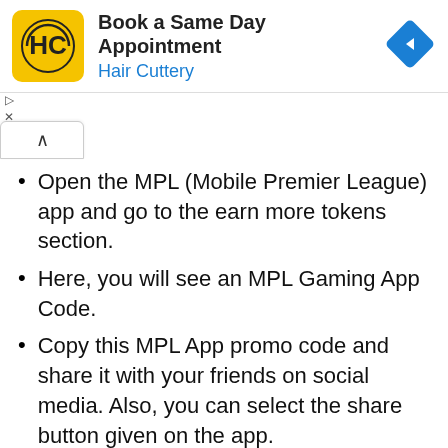[Figure (other): Hair Cuttery advertisement banner with logo (HC in yellow square), text 'Book a Same Day Appointment / Hair Cuttery', and a blue diamond navigation icon]
Open the MPL (Mobile Premier League) app and go to the earn more tokens section.
Here, you will see an MPL Gaming App Code.
Copy this MPL App promo code and share it with your friends on social media. Also, you can select the share button given on the app.
When your friends will use the shared MPL App discount code or referral code to sign up at the MPL